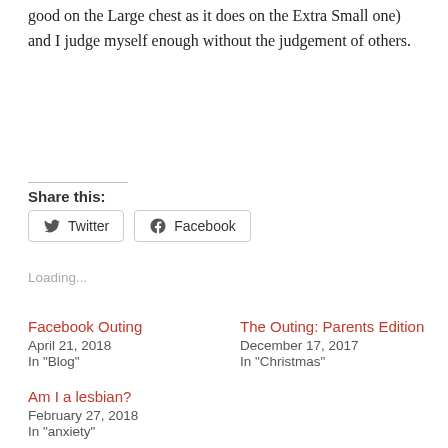good on the Large chest as it does on the Extra Small one) and I judge myself enough without the judgement of others.
Share this:
[Figure (screenshot): Twitter and Facebook share buttons]
Loading...
Facebook Outing
April 21, 2018
In "Blog"
The Outing: Parents Edition
December 17, 2017
In "Christmas"
Am I a lesbian?
February 27, 2018
In "anxiety"